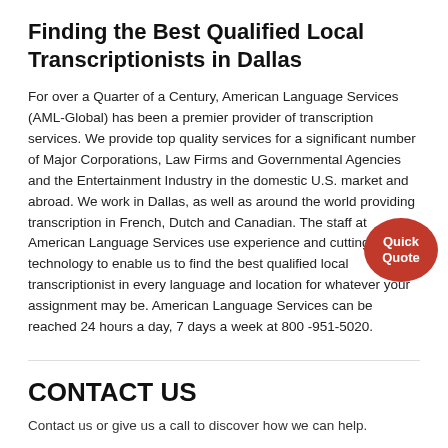Finding the Best Qualified Local Transcriptionists in Dallas
For over a Quarter of a Century, American Language Services (AML-Global) has been a premier provider of transcription services. We provide top quality services for a significant number of Major Corporations, Law Firms and Governmental Agencies and the Entertainment Industry in the domestic U.S. market and abroad. We work in Dallas, as well as around the world providing transcription in French, Dutch and Canadian. The staff at American Language Services use experience and cutting edge technology to enable us to find the best qualified local transcriptionist in every language and location for whatever your assignment may be. American Language Services can be reached 24 hours a day, 7 days a week at 800 -951-5020.
CONTACT US
Contact us or give us a call to discover how we can help.